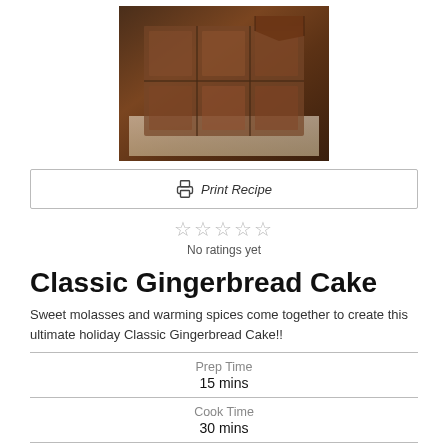[Figure (photo): Overhead photo of gingerbread cake squares in a baking pan lined with parchment paper]
Print Recipe
No ratings yet
Classic Gingerbread Cake
Sweet molasses and warming spices come together to create this ultimate holiday Classic Gingerbread Cake!!
Prep Time
15 mins
Cook Time
30 mins
Total Time
45 mins